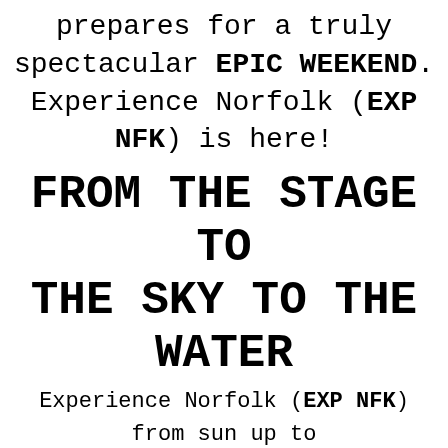prepares for a truly spectacular EPIC WEEKEND. Experience Norfolk (EXP NFK) is here!
FROM THE STAGE TO THE SKY TO THE WATER
Experience Norfolk (EXP NFK) from sun up to well after sundown throughout one explosive